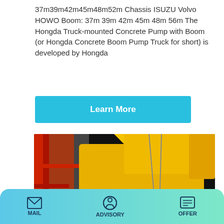37m39m42m45m48m52m Chassis ISUZU Volvo HOWO Boom: 37m 39m 42m 45m 48m 56m The Hongda Truck-mounted Concrete Pump with Boom (or Hongda Concrete Boom Pump Truck for short) is developed by Hongda
Learn More
[Figure (photo): A yellow heavy construction machine (concrete mixer/pump labeled JS750) being loaded or unloaded from a shipping container using a crane, photographed at night indoors. A red metal structure is visible on the left side.]
MAIL   ADVISORY   OFFER